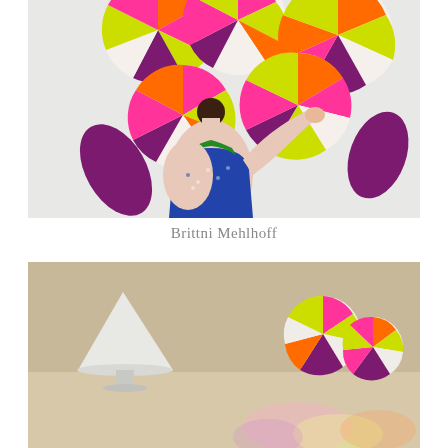[Figure (photo): A woman with dark hair in a bun, wearing a blue polka-dot top with green trim, standing with her back to the camera and reaching up to arrange large colorful circular paper art pieces on a white wall. The art pieces feature bright sections of pink, orange, yellow-green, purple, and cream.]
Brittni Mehlhoff
[Figure (photo): A room scene with a white conical table lamp on a surface. On the wall behind are colorful circular paper art pieces similar to those in the top photo, showing pink, orange, yellow-green, and purple sections. The background wall is a warm taupe/beige color. The bottom of the image fades to white with a reflected/blurred version of the colorful circles.]